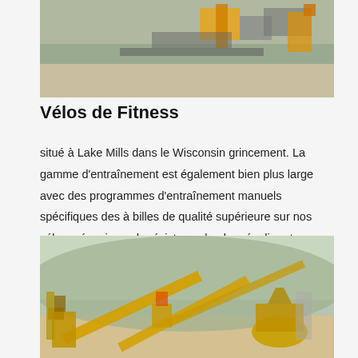[Figure (photo): Aerial view of industrial mining/crushing equipment on rocky terrain]
Vélos de Fitness
situé à Lake Mills dans le Wisconsin grincement. La gamme d'entraînement est également bien plus large avec des programmes d'entraînement manuels spécifiques des à billes de qualité supérieure sur nos vélos mécanisme de résistance le plus régulier et
Obtenir le prix
[Figure (photo): Industrial crushing/mining plant with yellow conveyor belts and cone crushers in an open-air setting]